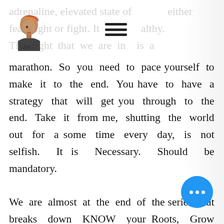[Figure (logo): Logo of a woman's silhouette profile wearing a head wrap, with initials 'AW' below]
adrenaline, elevated state of either fear, fight or fight. It is not healthy. The fight that we are in is a marathon. So you need to pace yourself to make it to the end. You have to have a strategy that will get you through to the end. Take it from me, shutting the world out for a some time every day, is not selfish. It is Necessary. Should be mandatory.
We are almost at the end of the series that breaks down KNOW your Roots, Grow your Purpose. Before I dive in I just wanted to highlight that 15-21 June is Men's Health Week. Listen, this is very much a wom concern too because we feed th concern too because we feed th